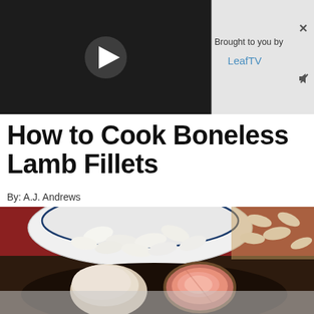[Figure (screenshot): Video player thumbnail showing dark background with white play button triangle on left side, and 'Brought to you by LeafTV' panel on the right with close (X) and mute buttons]
How to Cook Boneless Lamb Fillets
By: A.J. Andrews
[Figure (photo): Overhead food photo showing a white bowl with large white beans/butter beans spilling out onto a dark surface, and sliced boneless lamb fillets on a dark plate below, revealing pink interior meat]